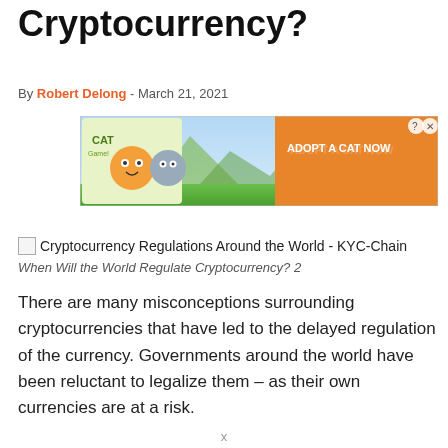Cryptocurrency?
By Robert Delong - March 21, 2021
[Figure (other): Advertisement banner for 'Cat Game' mobile app: shows cartoon cats with text 'ADOPT A CAT NOW' on an orange background, with a help/close button in the top right corner.]
[Figure (photo): Image placeholder: Cryptocurrency Regulations Around the World - KYC-Chain]
When Will the World Regulate Cryptocurrency? 2
There are many misconceptions surrounding cryptocurrencies that have led to the delayed regulation of the currency. Governments around the world have been reluctant to legalize them – as their own currencies are at a risk.